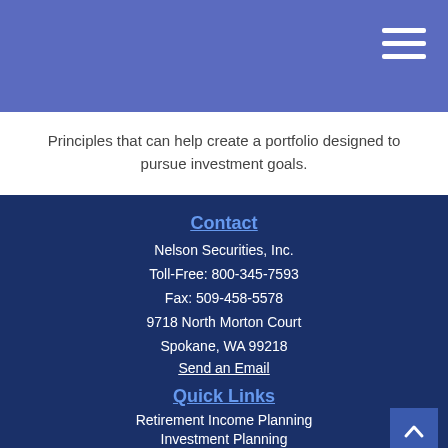Principles that can help create a portfolio designed to pursue investment goals.
Contact
Nelson Securities, Inc.
Toll-Free: 800-345-7593
Fax: 509-458-5578
9718 North Morton Court
Spokane, WA 99218
Send an Email
Quick Links
Retirement Income Planning
Investment Planning